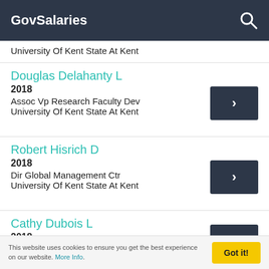GovSalaries
University Of Kent State At Kent
Douglas Delahanty L
2018
Assoc Vp Research Faculty Dev
University Of Kent State At Kent
Robert Hisrich D
2018
Dir Global Management Ctr
University Of Kent State At Kent
Cathy Dubois L
2018
This website uses cookies to ensure you get the best experience on our website. More Info.